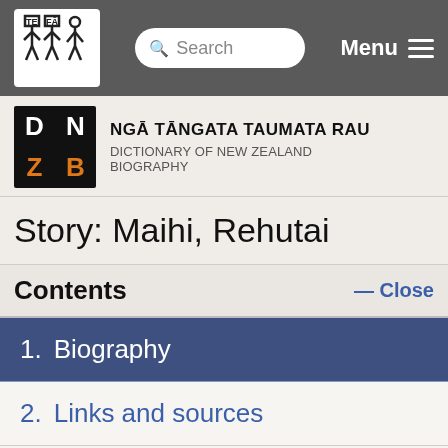Search  Menu
[Figure (logo): DNZB logo: black square with DN in white and ZB in orange, next to text NGĀ TĀNGATA TAUMATA RAU / DICTIONARY OF NEW ZEALAND BIOGRAPHY]
Story: Maihi, Rehutai
Contents
1.  Biography
2.  Links and sources
3.  Related biographies
Page 1: Biography